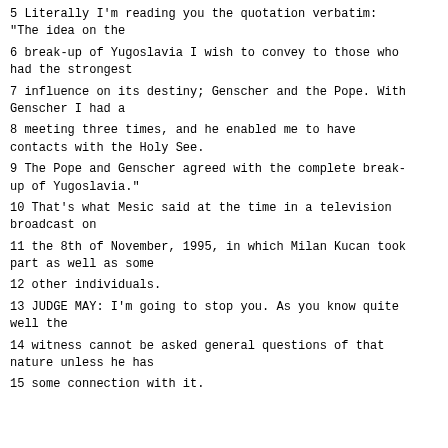5 Literally I'm reading you the quotation verbatim: "The idea on the
6 break-up of Yugoslavia I wish to convey to those who had the strongest
7 influence on its destiny; Genscher and the Pope. With Genscher I had a
8 meeting three times, and he enabled me to have contacts with the Holy See.
9 The Pope and Genscher agreed with the complete break-up of Yugoslavia."
10 That's what Mesic said at the time in a television broadcast on
11 the 8th of November, 1995, in which Milan Kucan took part as well as some
12 other individuals.
13 JUDGE MAY: I'm going to stop you. As you know quite well the
14 witness cannot be asked general questions of that nature unless he has
15 some connection with it.